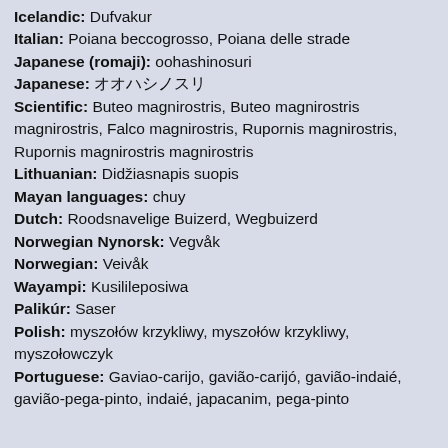Icelandic: Dufvakur
Italian: Poiana beccogrosso, Poiana delle strade
Japanese (romaji): oohashinosuri
Japanese: オオハシノスリ
Scientific: Buteo magnirostris, Buteo magnirostris magnirostris, Falco magnirostris, Rupornis magnirostris, Rupornis magnirostris magnirostris
Lithuanian: Didžiasnapis suopis
Mayan languages: chuy
Dutch: Roodsnavelige Buizerd, Wegbuizerd
Norwegian Nynorsk: Vegvåk
Norwegian: Veivåk
Wayampi: Kusilileposiwa
Palikúr: Saser
Polish: myszołów krzykliwy, myszołów krzykliwy, myszołowczyk
Portuguese: Gaviao-carijo, gavião-carijó, gavião-indaié, gavião-pega-pinto, indaié, japacanim, pega-pinto